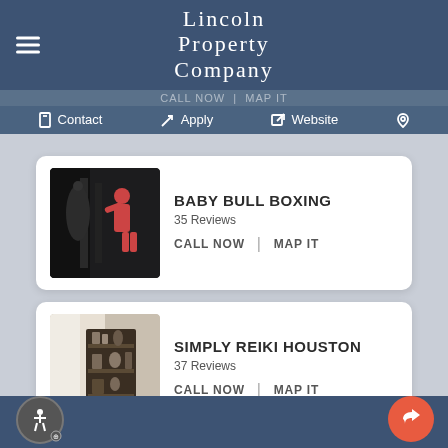Lincoln Property Company
Contact  Apply  Website
CALL NOW  |  MAP IT
[Figure (screenshot): Baby Bull Boxing gym photo showing a person punching a heavy bag in a dark gym]
BABY BULL BOXING
35 Reviews
CALL NOW  |  MAP IT
[Figure (screenshot): Simply Reiki Houston interior photo showing shelves with decor items and soft lighting]
SIMPLY REIKI HOUSTON
37 Reviews
CALL NOW  |  MAP IT